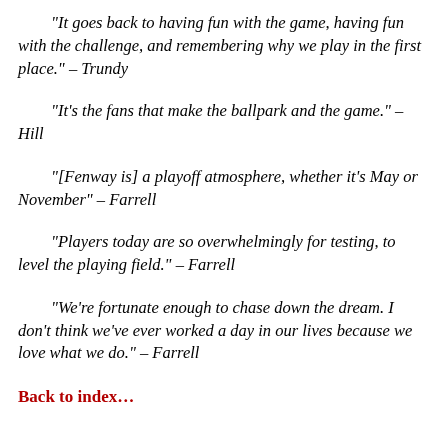“It goes back to having fun with the game, having fun with the challenge, and remembering why we play in the first place.” – Trundy
“It’s the fans that make the ballpark and the game.” – Hill
“[Fenway is] a playoff atmosphere, whether it’s May or November” – Farrell
“Players today are so overwhelmingly for testing, to level the playing field.” – Farrell
“We’re fortunate enough to chase down the dream. I don’t think we’ve ever worked a day in our lives because we love what we do.” – Farrell
Back to index…